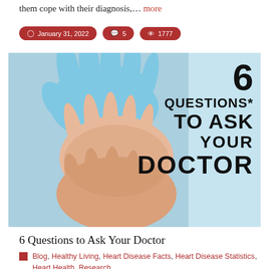them cope with their diagnosis,… more
January 31, 2022   5   1777
[Figure (photo): A gloved medical professional's hands holding a patient's hands, with overlay text reading '6 QUESTIONS* TO ASK YOUR DOCTOR' on a light blue background]
6 Questions to Ask Your Doctor
Blog, Healthy Living, Heart Disease Facts, Heart Disease Statistics, Heart Health, Research,